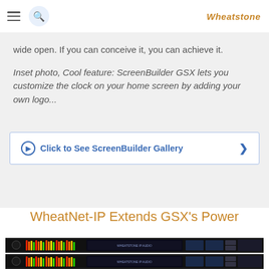Wheatstone
wide open. If you can conceive it, you can achieve it.
Inset photo, Cool feature: ScreenBuilder GSX lets you customize the clock on your home screen by adding your own logo...
Click to See ScreenBuilder Gallery
WheatNet-IP Extends GSX's Power
[Figure (photo): Two rack-mounted Wheatstone audio devices (WheatNet-IP hardware) stacked, showing LED metering, controls, and displays on the front panels.]